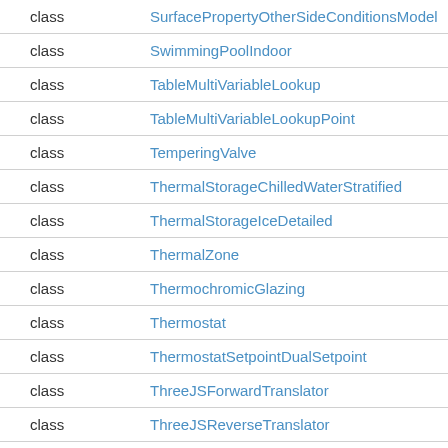| type | name |
| --- | --- |
| class | SurfacePropertyOtherSideConditionsModel |
| class | SwimmingPoolIndoor |
| class | TableMultiVariableLookup |
| class | TableMultiVariableLookupPoint |
| class | TemperingValve |
| class | ThermalStorageChilledWaterStratified |
| class | ThermalStorageIceDetailed |
| class | ThermalZone |
| class | ThermochromicGlazing |
| class | Thermostat |
| class | ThermostatSetpointDualSetpoint |
| class | ThreeJSForwardTranslator |
| class | ThreeJSReverseTranslator |
| class | Timestep |
| class | UnitarySystemPerformanceMultispeed |